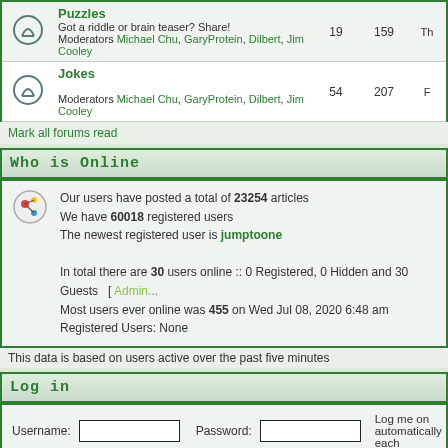|  | Forum | Topics | Posts | Last Post |
| --- | --- | --- | --- | --- |
| [icon] | Puzzles
Got a riddle or brain teaser? Share!
Moderators Michael Chu, GaryProtein, Dilbert, Jim Cooley | 19 | 159 | Th... |
| [icon] | Jokes
Moderators Michael Chu, GaryProtein, Dilbert, Jim Cooley | 54 | 207 | F... |
Mark all forums read
Who is Online
Our users have posted a total of 23254 articles
We have 60018 registered users
The newest registered user is jumptoone

In total there are 30 users online :: 0 Registered, 0 Hidden and 30 Guests  [ Admin...
Most users ever online was 455 on Wed Jul 08, 2020 6:48 am
Registered Users: None
This data is based on users active over the past five minutes
Log in
Username: [input] Password: [input] Log me on automatically each...
[Figure (illustration): Legend row: bell icon (New posts), bell icon grey (No new posts), lock icon (Forum is lo...)]
Powered by phpBB © 2001, 2005 phpBB Group